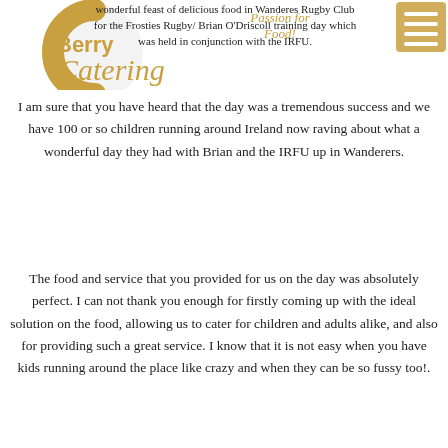[Figure (logo): Berry Catering logo with circular C graphic and italic script text 'Passion for Food!' in gold/brown colors]
wonderful feast of delicious food in Wanderes Rugby Club for the Frosties Rugby/ Brian O'Driscoll training day which was held in conjunction with the IRFU.
I am sure that you have heard that the day was a tremendous success and we have 100 or so children running around Ireland now raving about what a wonderful day they had with Brian and the IRFU up in Wanderers.
The food and service that you provided for us on the day was absolutely perfect. I can not thank you enough for firstly coming up with the ideal solution on the food, allowing us to cater for children and adults alike, and also for providing such a great service. I know that it is not easy when you have kids running around the place like crazy and when they can be so fussy too!.